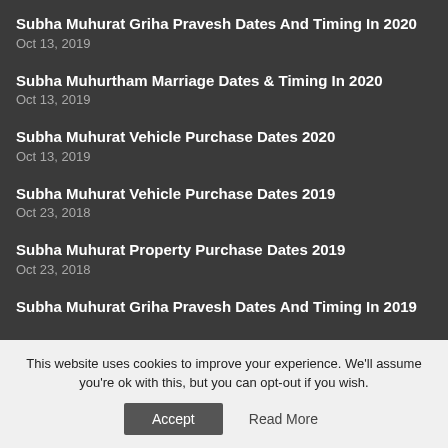Subha Muhurat Griha Pravesh Dates And Timing In 2020
Oct 13, 2019
Subha Muhurtham Marriage Dates & Timing In 2020
Oct 13, 2019
Subha Muhurat Vehicle Purchase Dates 2020
Oct 13, 2019
Subha Muhurat Vehicle Purchase Dates 2019
Oct 23, 2018
Subha Muhurat Property Purchase Dates 2019
Oct 23, 2018
Subha Muhurat Griha Pravesh Dates And Timing In 2019
This website uses cookies to improve your experience. We'll assume you're ok with this, but you can opt-out if you wish.